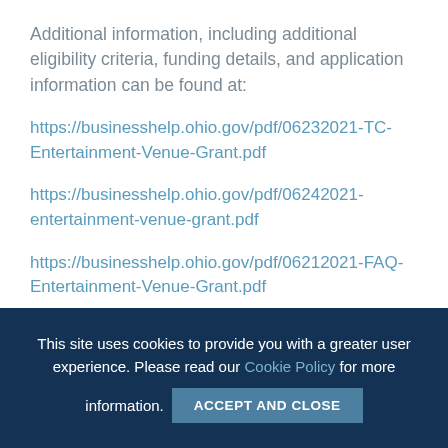Additional information, including additional eligibility criteria, funding details, and application information can be found at:
https://businesshelp.ohio.gov/pdf/06232021-TC-Entertainment-Venue-Grant.pdf
https://businesshelp.ohio.gov/pdf/06242021-entertainment-venue-grant.pdf
https://businesshelp.ohio.gov/pdf/06212021-FAQ-Entertainment-Venue-Grant.pdf
This site uses cookies to provide you with a greater user experience. Please read our Cookie Policy for more information. ACCEPT AND CLOSE